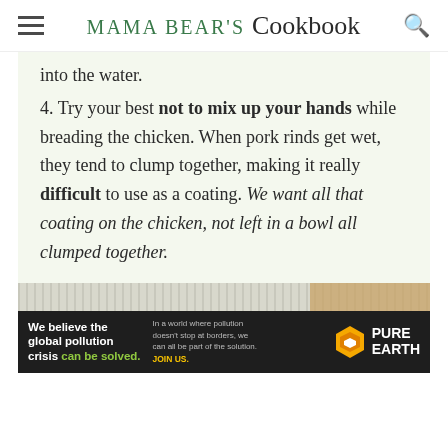Mama Bear's Cookbook
into the water.
4. Try your best not to mix up your hands while breading the chicken. When pork rinds get wet, they tend to clump together, making it really difficult to use as a coating. We want all that coating on the chicken, not left in a bowl all clumped together.
[Figure (photo): Partial food photo strip at the bottom of the content area]
[Figure (infographic): Pure Earth advertisement banner: 'We believe the global pollution crisis can be solved. In a world where pollution doesn't stop at borders, we can all be part of the solution. JOIN US.' with Pure Earth logo.]